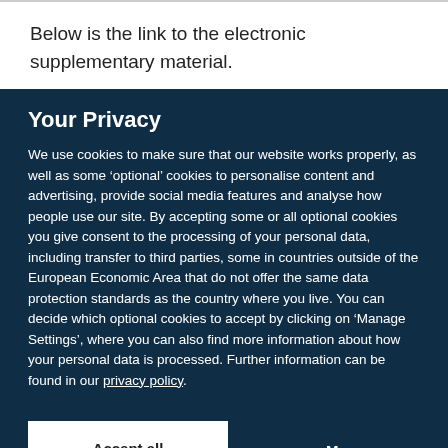Below is the link to the electronic supplementary material.
Your Privacy
We use cookies to make sure that our website works properly, as well as some ‘optional’ cookies to personalise content and advertising, provide social media features and analyse how people use our site. By accepting some or all optional cookies you give consent to the processing of your personal data, including transfer to third parties, some in countries outside of the European Economic Area that do not offer the same data protection standards as the country where you live. You can decide which optional cookies to accept by clicking on ‘Manage Settings’, where you can also find more information about how your personal data is processed. Further information can be found in our privacy policy.
Accept all cookies
Manage preferences